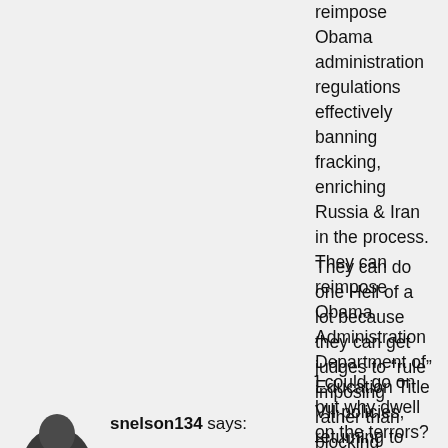reimpose Obama administration regulations effectively banning fracking, enriching Russia & Iran in the process. They can reimpose Obama Administration Department of Education Title VII policies, returning to men accused of sexual “crimes” are denied due process.
They can do one Hell of a lot because they can get judges to “rule” imposing rather than blocking national policies.
I could go on but why dwell on the terrors?
–
[Figure (photo): Partial view of a user avatar (profile photo), showing the top of a person's head, dark hair, cropped at the bottom of the page.]
snelson134 says: